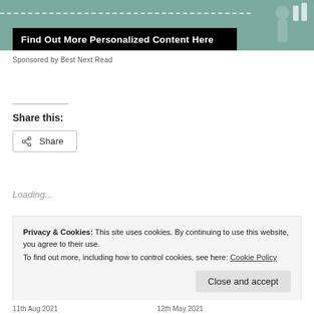[Figure (other): Advertisement banner with teal/green background showing a person figure on the right, dashed white horizontal line across the banner, and a black bar with white text 'Find Out More Personalized Content Here']
Sponsored by Best Next Read
Share this:
Share
Loading...
Privacy & Cookies: This site uses cookies. By continuing to use this website, you agree to their use.
To find out more, including how to control cookies, see here: Cookie Policy
Close and accept
11th Aug 2021    12th May 2021